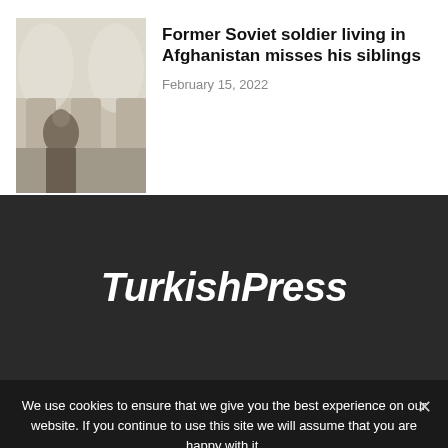[Figure (photo): Photo of a person in a mosque or similar arched interior building]
Former Soviet soldier living in Afghanistan misses his siblings
February 15, 2022
[Figure (logo): TurkishPress logo in white italic bold font on dark background]
We use cookies to ensure that we give you the best experience on our website. If you continue to use this site we will assume that you are happy with it.